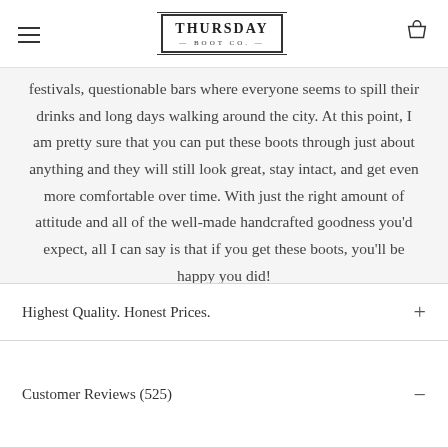Thursday Boot Co.
festivals, questionable bars where everyone seems to spill their drinks and long days walking around the city. At this point, I am pretty sure that you can put these boots through just about anything and they will still look great, stay intact, and get even more comfortable over time. With just the right amount of attitude and all of the well-made handcrafted goodness you'd expect, all I can say is that if you get these boots, you'll be happy you did!
Highest Quality. Honest Prices.
Customer Reviews (525)